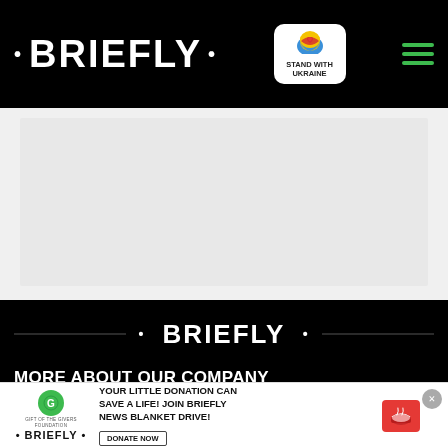• BRIEFLY •
[Figure (logo): Stand with Ukraine badge with heart icon]
[Figure (illustration): Grey banner/advertisement placeholder area]
[Figure (logo): • BRIEFLY • logo on dark background with horizontal lines]
MORE ABOUT OUR COMPANY
About Us
cies and standards
[Figure (infographic): Bottom advertisement banner: Gift of the Givers Foundation + Briefly logo. Text: YOUR LITTLE DONATION CAN SAVE A LIFE! JOIN BRIEFLY NEWS BLANKET DRIVE! DONATE NOW button. X close button.]